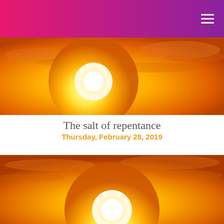[Figure (photo): Sunset photo showing a bright white sun against an orange and yellow sky with clouds]
The salt of repentance
Thursday, February 28, 2019
[Figure (photo): Another sunset photo showing a large bright sun low on the horizon against an orange sky with wispy clouds]